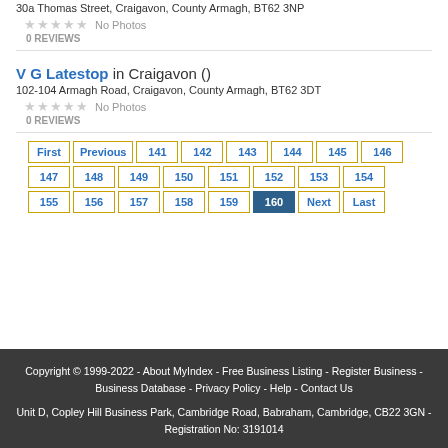30a Thomas Street, Craigavon, County Armagh, BT62 3NP
★★★★★ No Photos
0 REVIEWS
V G Latestop in Craigavon ()
102-104 Armagh Road, Craigavon, County Armagh, BT62 3DT
★★★★★ No Photos
0 REVIEWS
First | Previous | 141 | 142 | 143 | 144 | 145 | 146 | 147 | 148 | 149 | 150 | 151 | 152 | 153 | 154 | 155 | 156 | 157 | 158 | 159 | 160 | Next | Last
Copyright © 1999-2022 - About MyIndex - Free Business Listing - Register Business - Business Database - Privacy Policy - Help - Contact Us
Unit D, Copley Hill Business Park, Cambridge Road, Babraham, Cambridge, CB22 3GN - Registration No: 3191014